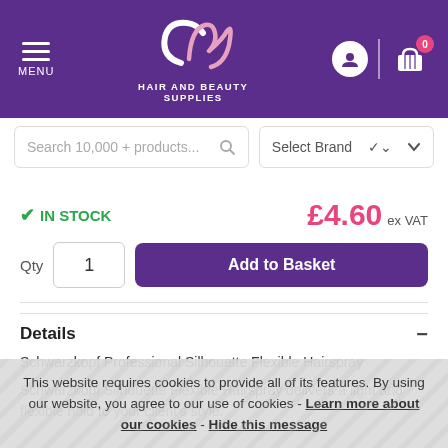[Figure (screenshot): CM Hair and Beauty Supplies website header with purple background, logo, menu icon, user icon, cart icon with badge showing 0]
Search 10,000 + products...
Select Brand
✓ IN STOCK
£4.60 ex VAT
Qty 1  Add to Basket
Details
Schwarzkopf Professional Silhouette Flexible Hairspray
Schwarzkopf Silhouette Flexible Hairspray delivers a light and flexible hold to your client's style.
This website requires cookies to provide all of its features. By using our website, you agree to our use of cookies - Learn more about our cookies - Hide this message